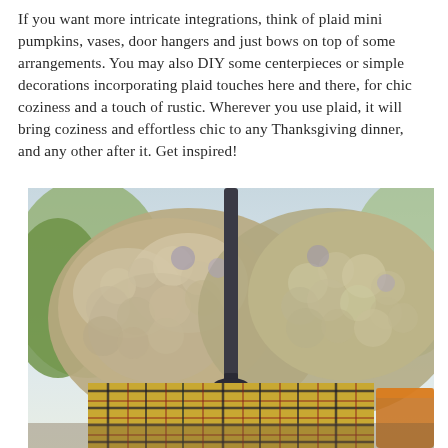If you want more intricate integrations, think of plaid mini pumpkins, vases, door hangers and just bows on top of some arrangements. You may also DIY some centerpieces or simple decorations incorporating plaid touches here and there, for chic coziness and a touch of rustic. Wherever you use plaid, it will bring coziness and effortless chic to any Thanksgiving dinner, and any other after it. Get inspired!
[Figure (photo): Close-up photo of dried hydrangea flowers in a plaid-patterned basket with a dark metal handle, set against a blurred outdoor background with soft natural light.]